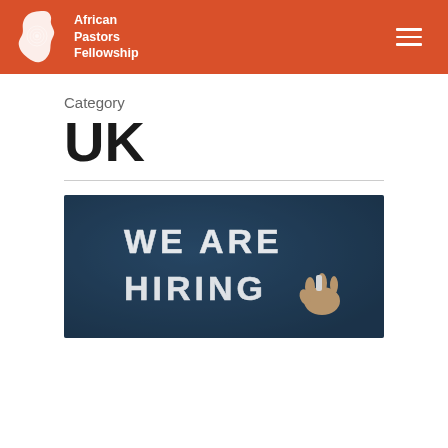African Pastors Fellowship
Category
UK
[Figure (photo): Chalkboard photograph with hand writing 'WE ARE HIRING' in chalk lettering]